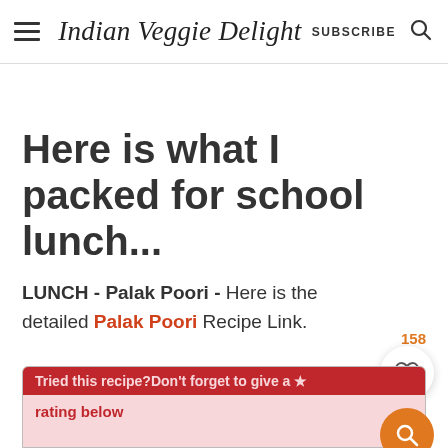Indian Veggie Delight  SUBSCRIBE
Here is what I packed for school lunch...
LUNCH - Palak Poori - Here is the detailed Palak Poori Recipe Link.
Tried this recipe?Don't forget to give a ★ rating below